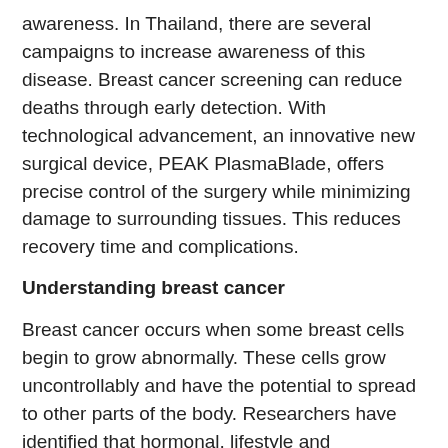awareness. In Thailand, there are several campaigns to increase awareness of this disease. Breast cancer screening can reduce deaths through early detection. With technological advancement, an innovative new surgical device, PEAK PlasmaBlade, offers precise control of the surgery while minimizing damage to surrounding tissues. This reduces recovery time and complications.
Understanding breast cancer
Breast cancer occurs when some breast cells begin to grow abnormally. These cells grow uncontrollably and have the potential to spread to other parts of the body. Researchers have identified that hormonal, lifestyle and environmental factors may increase the risk of breast cancer. It’s not clear why some people who have no risk factors develop cancer, yet other people with risk factors never do. With modern treatment options, survival rate is generally very good for